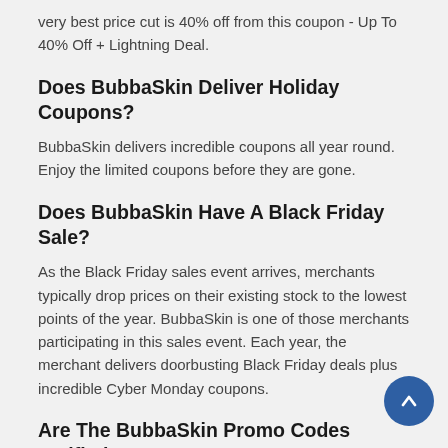very best price cut is 40% off from this coupon - Up To 40% Off + Lightning Deal.
Does BubbaSkin Deliver Holiday Coupons?
BubbaSkin delivers incredible coupons all year round. Enjoy the limited coupons before they are gone.
Does BubbaSkin Have A Black Friday Sale?
As the Black Friday sales event arrives, merchants typically drop prices on their existing stock to the lowest points of the year. BubbaSkin is one of those merchants participating in this sales event. Each year, the merchant delivers doorbusting Black Friday deals plus incredible Cyber Monday coupons.
Are The BubbaSkin Promo Codes Verified?
TopDealSpy delivers dozens of promo codes for BubbaSkin. If a promo code is identified as "Verified", that means we have